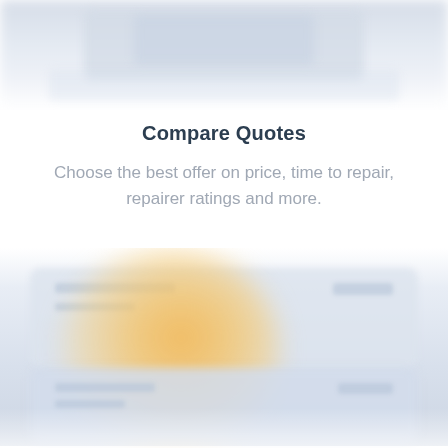[Figure (screenshot): Blurred top portion of a mobile app interface showing UI elements]
Compare Quotes
Choose the best offer on price, time to repair, repairer ratings and more.
[Figure (screenshot): Blurred bottom portion of a mobile app interface showing quote comparison cards with an amber/gold circular highlight element]